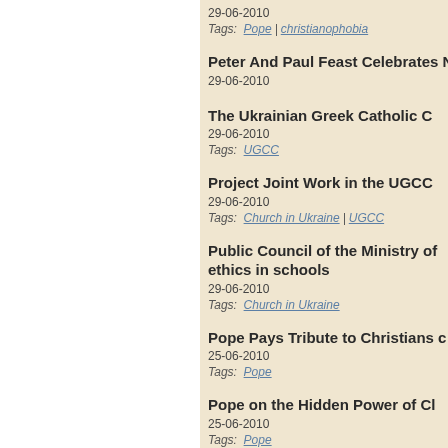29-06-2010
Tags: Pope | christianophobia
Peter And Paul Feast Celebrates ...
29-06-2010
The Ukrainian Greek Catholic C...
29-06-2010
Tags: UGCC
Project Joint Work in the UGCC...
29-06-2010
Tags: Church in Ukraine | UGCC
Public Council of the Ministry of ... ethics in schools
29-06-2010
Tags: Church in Ukraine
Pope Pays Tribute to Christians c...
25-06-2010
Tags: Pope
Pope on the Hidden Power of Cl...
25-06-2010
Tags: Pope